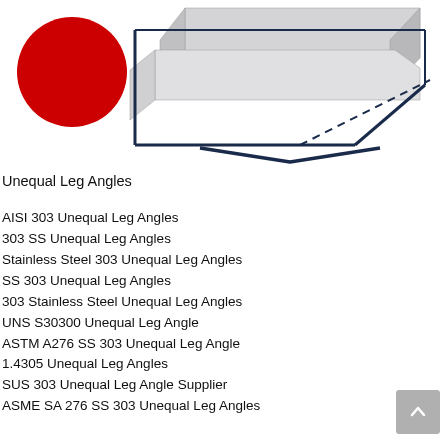[Figure (illustration): Engineering illustration showing stainless steel angle pieces (unequal leg angles) in grey metallic finish, with dark navy blue outline lines indicating the angle shape, dashed lines showing dimensions, and a red circle logo/badge in the top left area.]
Unequal Leg Angles
AISI 303 Unequal Leg Angles
303 SS Unequal Leg Angles
Stainless Steel 303 Unequal Leg Angles
SS 303 Unequal Leg Angles
303 Stainless Steel Unequal Leg Angles
UNS S30300 Unequal Leg Angle
ASTM A276 SS 303 Unequal Leg Angle
1.4305 Unequal Leg Angles
SUS 303 Unequal Leg Angle Supplier
ASME SA 276 SS 303 Unequal Leg Angles